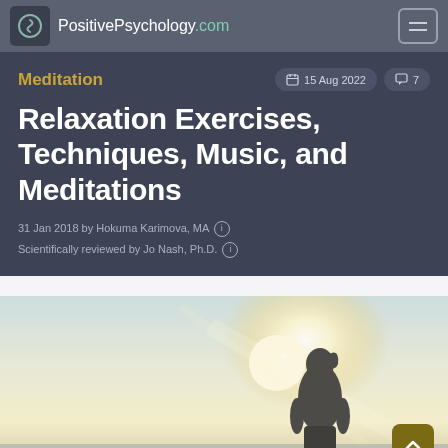PositivePsychology.com
Meditation
15 Aug 2022   7
Relaxation Exercises, Techniques, Music, and Meditations
31 Jan 2018 by Hokuma Karimova, MA
Scientifically reviewed by Jo Nash, Ph.D.
[Figure (photo): A silhouette of a person with a ponytail viewed from behind, backlit by a bright sun with lens flare, standing outdoors against a light sky. The image has a warm, hazy, serene quality.]